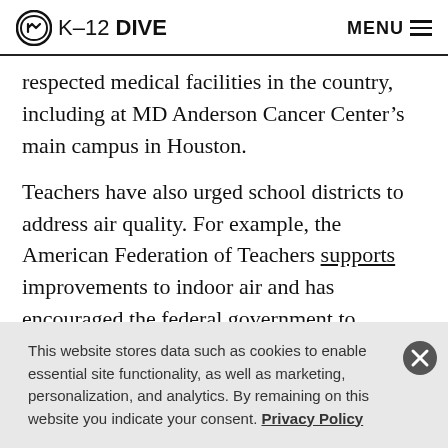K-12 DIVE  MENU
respected medical facilities in the country, including at MD Anderson Cancer Center’s main campus in Houston.
Teachers have also urged school districts to address air quality. For example, the American Federation of Teachers supports improvements to indoor air and has encouraged the federal government to implement minimum ventilation standards.
During the pandemic, support for these measures
This website stores data such as cookies to enable essential site functionality, as well as marketing, personalization, and analytics. By remaining on this website you indicate your consent. Privacy Policy